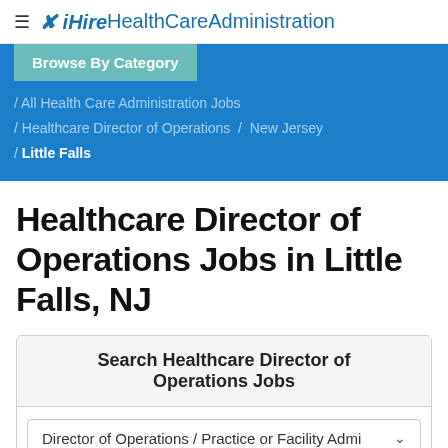iHireHealthCareAdministration
Browse By Category
/ All Health Care Administration Jobs / Healthcare Director of Operations / New Jersey / Little Falls
Healthcare Director of Operations Jobs in Little Falls, NJ
Search Healthcare Director of Operations Jobs
Director of Operations / Practice or Facility Admi